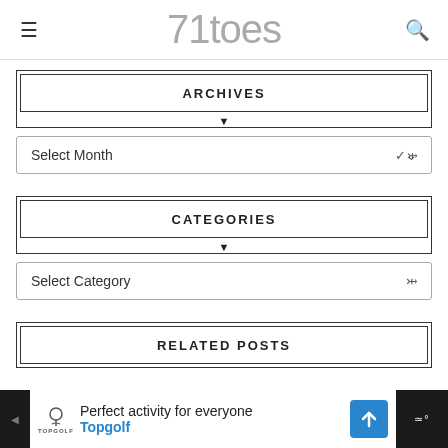71toes
ARCHIVES
Select Month
CATEGORIES
Select Category
RELATED POSTS
[Figure (other): Advertisement banner for Topgolf: 'Perfect activity for everyone - Topgolf']